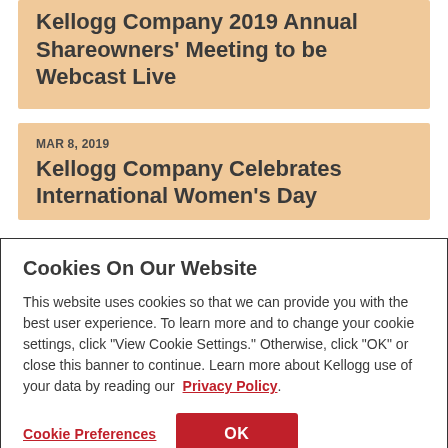Kellogg Company 2019 Annual Shareowners' Meeting to be Webcast Live
MAR 8, 2019
Kellogg Company Celebrates International Women's Day
Cookies On Our Website
This website uses cookies so that we can provide you with the best user experience. To learn more and to change your cookie settings, click "View Cookie Settings." Otherwise, click "OK" or close this banner to continue. Learn more about Kellogg use of your data by reading our  Privacy Policy.
Cookie Preferences
OK